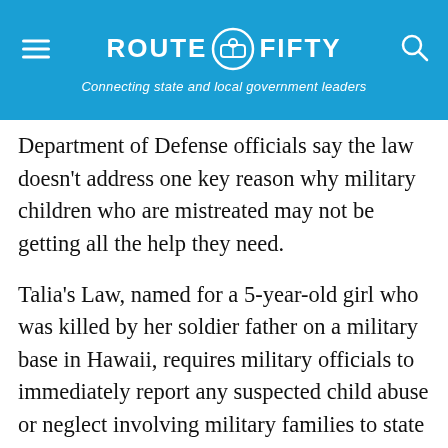ROUTE FIFTY — Connecting state and local government leaders
Department of Defense officials say the law doesn't address one key reason why military children who are mistreated may not be getting all the help they need.
Talia's Law, named for a 5-year-old girl who was killed by her soldier father on a military base in Hawaii, requires military officials to immediately report any suspected child abuse or neglect involving military families to state social services agencies. But there is no reciprocal requirement for social services agencies — the agencies aren't required to let the military know when a case of